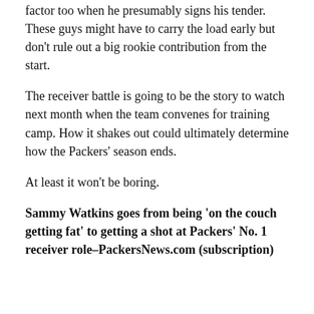factor too when he presumably signs his tender. These guys might have to carry the load early but don't rule out a big rookie contribution from the start.
The receiver battle is going to be the story to watch next month when the team convenes for training camp. How it shakes out could ultimately determine how the Packers' season ends.
At least it won't be boring.
Sammy Watkins goes from being ‘on the couch getting fat’ to getting a shot at Packers’ No. 1 receiver role–PackersNews.com (subscription)